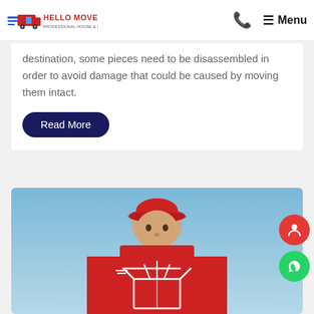Hello Movers — Phone | Menu
destination, some pieces need to be disassembled in order to avoid damage that could be caused by moving them intact.
Read More
[Figure (photo): A delivery man in red uniform and red cap holding a large red box with a white packing/box icon (open box with flying items), photographed against a blue sky background.]